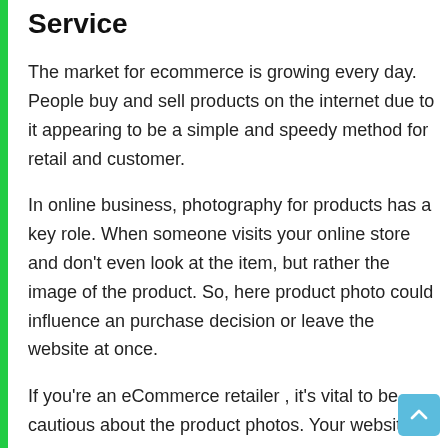Service
The market for ecommerce is growing every day. People buy and sell products on the internet due to it appearing to be a simple and speedy method for retail and customer.
In online business, photography for products has a key role. When someone visits your online store and don’t even look at the item, but rather the image of the product. So, here product photo could influence an purchase decision or leave the website at once.
If you’re an eCommerce retailer , it’s vital to be cautious about the product photos. Your website